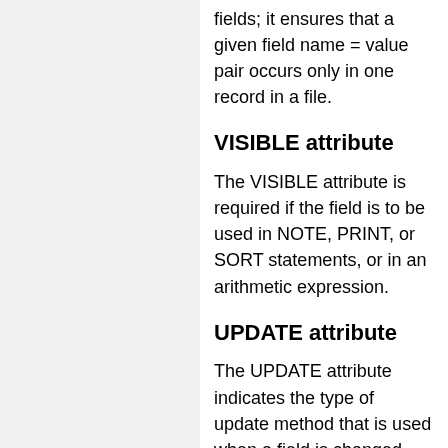fields; it ensures that a given field name = value pair occurs only in one record in a file.
VISIBLE attribute
The VISIBLE attribute is required if the field is to be used in NOTE, PRINT, or SORT statements, or in an arithmetic expression.
UPDATE attribute
The UPDATE attribute indicates the type of update method that is used when a field is changed.
If UPDATE IN PLACE is specified, changing the value of a field occurrence does not change its position relative to other occurrences of the same